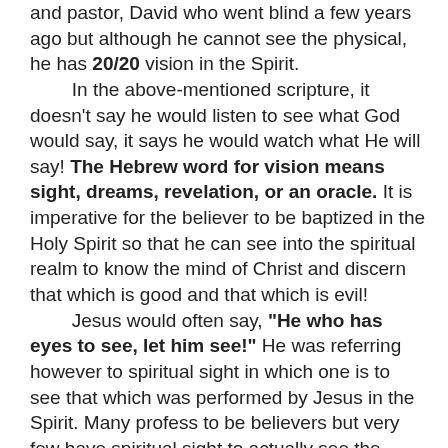and pastor, David who went blind a few years ago but although he cannot see the physical, he has 20/20 vision in the Spirit.
    In the above-mentioned scripture, it doesn't say he would listen to see what God would say, it says he would watch what He will say! The Hebrew word for vision means sight, dreams, revelation, or an oracle. It is imperative for the believer to be baptized in the Holy Spirit so that he can see into the spiritual realm to know the mind of Christ and discern that which is good and that which is evil!
    Jesus would often say, "He who has eyes to see, let him see!" He was referring however to spiritual sight in which one is to see that which was performed by Jesus in the Spirit. Many profess to be believers but very few have spiritual sight to actually see the supernatural realm.
    The disciples came and said to Jesus, "Why do you speak to them (the multitudes) in parables?"